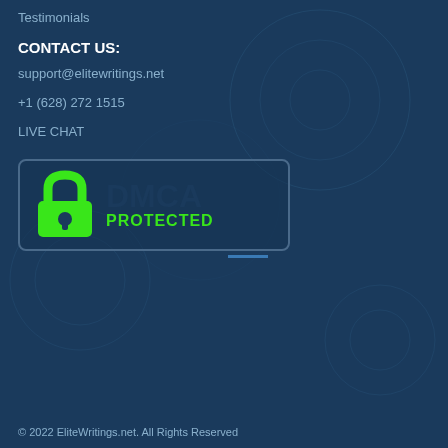Testimonials
CONTACT US:
support@elitewritings.net
+1 (628) 272 1515
LIVE CHAT
[Figure (logo): DMCA Protected badge with green padlock icon and text 'DMCA PROTECTED']
© 2022 EliteWritings.net. All Rights Reserved